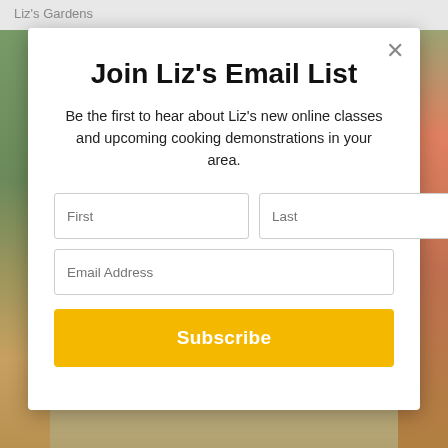Liz's Gardens
Join Liz's Email List
Be the first to hear about Liz's new online classes and upcoming cooking demonstrations in your area.
[Figure (screenshot): Email subscription modal with First/Last name fields, Email Address field, and Subscribe button on a garden background]